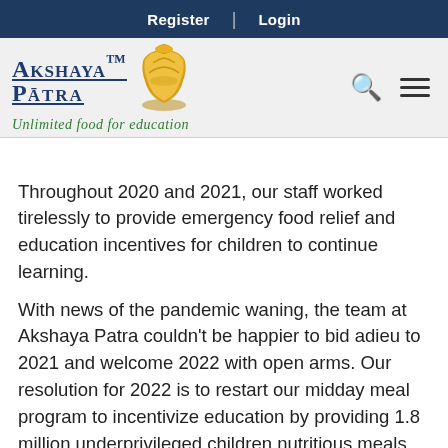Register | Login
[Figure (logo): Akshaya Patra logo with golden pot and tagline 'Unlimited food for education']
Throughout 2020 and 2021, our staff worked tirelessly to provide emergency food relief and education incentives for children to continue learning.
With news of the pandemic waning, the team at Akshaya Patra couldn't be happier to bid adieu to 2021 and welcome 2022 with open arms.  Our resolution for 2022 is to restart our midday meal program to incentivize education by providing 1.8 million underprivileged children nutritious meals, every school day, all across India.  Our 800+ trucks will deliver these meals to 19,000+